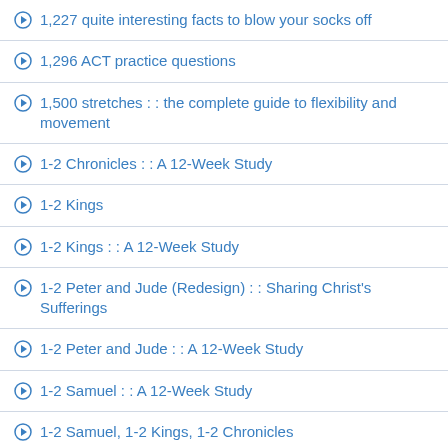1,227 quite interesting facts to blow your socks off
1,296 ACT practice questions
1,500 stretches : : the complete guide to flexibility and movement
1-2 Chronicles : : A 12-Week Study
1-2 Kings
1-2 Kings : : A 12-Week Study
1-2 Peter and Jude (Redesign) : : Sharing Christ's Sufferings
1-2 Peter and Jude : : A 12-Week Study
1-2 Samuel : : A 12-Week Study
1-2 Samuel, 1-2 Kings, 1-2 Chronicles